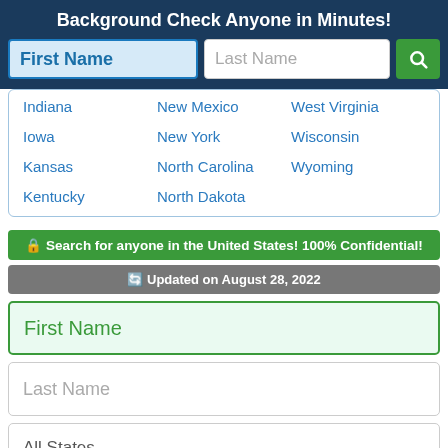Background Check Anyone in Minutes!
[Figure (screenshot): Search form with First Name (blue highlighted) and Last Name input fields plus green search button]
Indiana
New Mexico
West Virginia
Iowa
New York
Wisconsin
Kansas
North Carolina
Wyoming
Kentucky
North Dakota
🔒 Search for anyone in the United States! 100% Confidential!
🔄 Updated on August 28, 2022
[Figure (screenshot): Second search form with First Name (green border, light green background), Last Name, and All States dropdown fields]